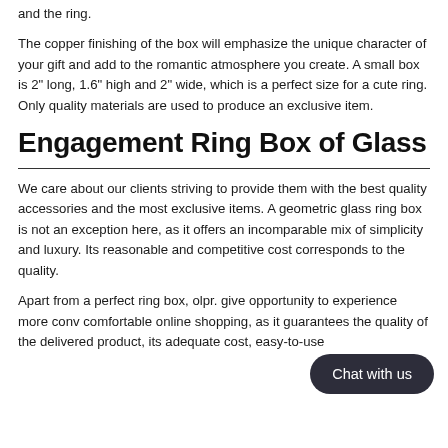and the ring.
The copper finishing of the box will emphasize the unique character of your gift and add to the romantic atmosphere you create. A small box is 2" long, 1.6" high and 2" wide, which is a perfect size for a cute ring. Only quality materials are used to produce an exclusive item.
Engagement Ring Box of Glass
We care about our clients striving to provide them with the best quality accessories and the most exclusive items. A geometric glass ring box is not an exception here, as it offers an incomparable mix of simplicity and luxury. Its reasonable and competitive cost corresponds to the quality.
Apart from a perfect ring box, olpr. give opportunity to experience more conv comfortable online shopping, as it guarantees the quality of the delivered product, its adequate cost, easy-to-use